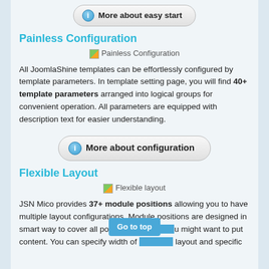[Figure (other): Button: More about easy start with info icon]
Painless Configuration
[Figure (other): Image placeholder: Painless Configuration]
All JoomlaShine templates can be effortlessly configured by template parameters. In template setting page, you will find 40+ template parameters arranged into logical groups for convenient operation. All parameters are equipped with description text for easier understanding.
[Figure (other): Button: More about configuration with info icon]
Flexible Layout
[Figure (other): Image placeholder: Flexible layout]
JSN Mico provides 37+ module positions allowing you to have multiple layout configurations. Module positions are designed in smart way to cover all possible sp[Go to top]u might want to put content. You can specify width of [Go to top] layout and specific